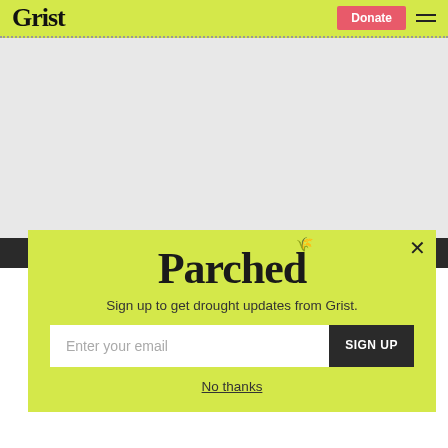Grist | Donate
[Figure (screenshot): Gray placeholder content area below navigation bar]
Parched
Sign up to get drought updates from Grist.
Enter your email | SIGN UP
No thanks